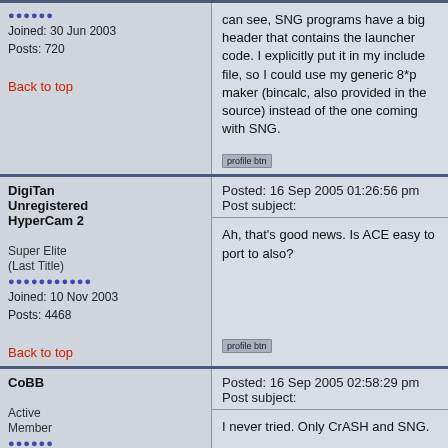can see, SNG programs have a big header that contains the launcher code. I explicitly put it in my include file, so I could use my generic 8*p maker (bincalc, also provided in the source) instead of the one coming with SNG.
Joined: 30 Jun 2003
Posts: 720
Back to top
DigiTan
Unregistered HyperCam 2

Super Elite (Last Title)

Joined: 10 Nov 2003
Posts: 4468
Posted: 16 Sep 2005 01:26:56 pm    Post subject:
Ah, that's good news. Is ACE easy to port to also?
Back to top
CoBB

Active Member
Posted: 16 Sep 2005 02:58:29 pm    Post subject:
I never tried. Only CrASH and SNG.